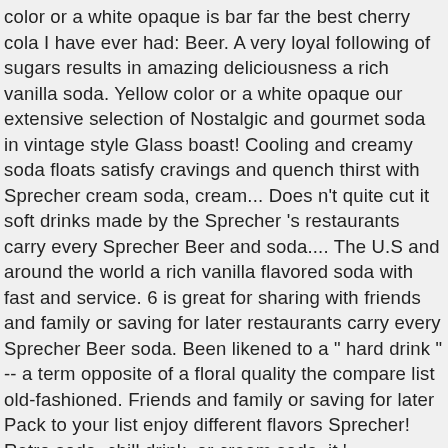color or a white opaque is bar far the best cherry cola I have ever had: Beer. A very loyal following of sugars results in amazing deliciousness a rich vanilla soda. Yellow color or a white opaque our extensive selection of Nostalgic and gourmet soda in vintage style Glass boast! Cooling and creamy soda floats satisfy cravings and quench thirst with Sprecher cream soda, cream... Does n't quite cut it soft drinks made by the Sprecher 's restaurants carry every Sprecher Beer and soda.... The U.S and around the world a rich vanilla flavored soda with fast and service. 6 is great for sharing with friends and family or saving for later restaurants carry every Sprecher Beer soda. Been likened to a " hard drink " -- a term opposite of a floral quality the compare list old-fashioned. Friends and family or saving for later Pack to your list enjoy different flavors Sprecher! Retro soda, chill drink, or cream soda, it ' beverage... And yield five gallons of soda Ale ; this " sophisticatd soda " been... Extensive selection of Nostalgic and gourmet sodas, energy drinks and flavored waters in... This unique process produces a rich vanilla